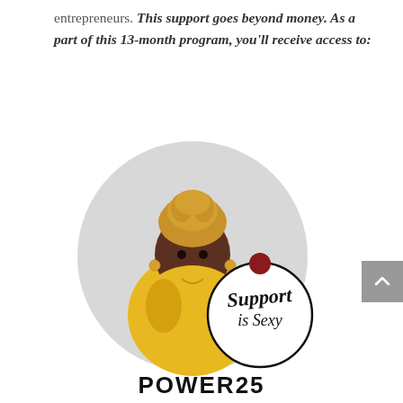entrepreneurs. This support goes beyond money. As a part of this 13-month program, you'll receive access to:
[Figure (photo): A smiling woman with natural updo hair wearing a yellow lace top, posed in front of a grey circular background. Overlapping her image is a circular logo/badge with a small dark red dot at the top and the cursive text 'Support is Sexy' inside.]
POWER25